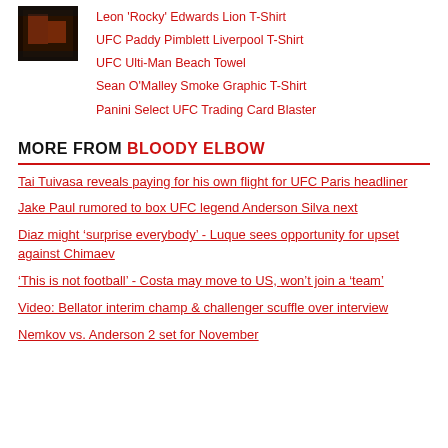[Figure (photo): Small thumbnail image with dark/orange tones, partially visible]
Leon 'Rocky' Edwards Lion T-Shirt
UFC Paddy Pimblett Liverpool T-Shirt
UFC Ulti-Man Beach Towel
Sean O'Malley Smoke Graphic T-Shirt
Panini Select UFC Trading Card Blaster
MORE FROM BLOODY ELBOW
Tai Tuivasa reveals paying for his own flight for UFC Paris headliner
Jake Paul rumored to box UFC legend Anderson Silva next
Diaz might ‘surprise everybody’ - Luque sees opportunity for upset against Chimaev
‘This is not football’ - Costa may move to US, won’t join a ‘team’
Video: Bellator interim champ & challenger scuffle over interview
Nemkov vs. Anderson 2 set for November